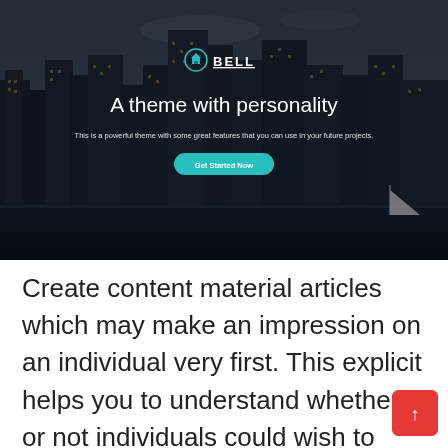[Figure (screenshot): Hero section of 'Bell' WordPress theme website screenshot. Dark overlay on city skyline background. Shows Bell logo with teal house icon, tagline 'A theme with personality', subtitle text, and 'Get Started Now' teal button.]
Create content material articles which may make an impression on an individual very first. This explicit helps you to understand whether or not individuals could wish to uncover out about exactly what you want to state the development of the WordPress theme, it's worthwhile so as to add multiple add -ons to increase